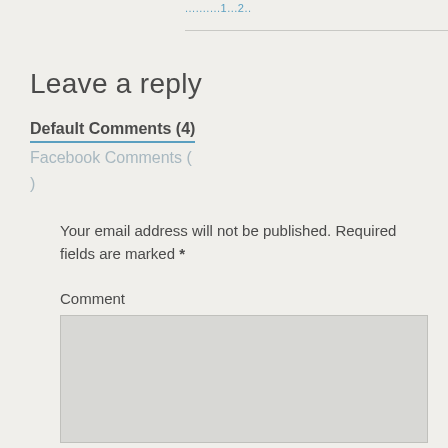..........1...2..
Leave a reply
Default Comments (4)
Facebook Comments (
)
Your email address will not be published. Required fields are marked *
Comment